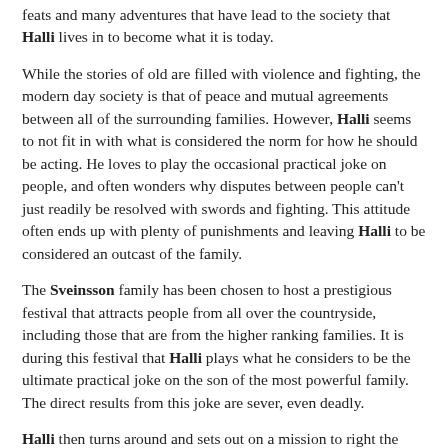feats and many adventures that have lead to the society that Halli lives in to become what it is today.
While the stories of old are filled with violence and fighting, the modern day society is that of peace and mutual agreements between all of the surrounding families. However, Halli seems to not fit in with what is considered the norm for how he should be acting. He loves to play the occasional practical joke on people, and often wonders why disputes between people can't just readily be resolved with swords and fighting. This attitude often ends up with plenty of punishments and leaving Halli to be considered an outcast of the family.
The Sveinsson family has been chosen to host a prestigious festival that attracts people from all over the countryside, including those that are from the higher ranking families. It is during this festival that Halli plays what he considers to be the ultimate practical joke on the son of the most powerful family. The direct results from this joke are sever, even deadly.
Halli then turns around and sets out on a mission to right the wrong that he has caused. He runs into hurdles everywhere he